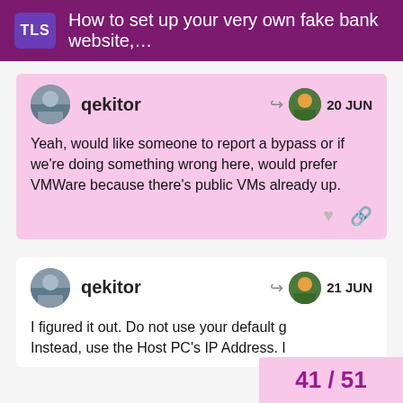TLS  How to set up your very own fake bank website,...
qekitor  20 JUN
Yeah, would like someone to report a bypass or if we're doing something wrong here, would prefer VMWare because there's public VMs already up.
qekitor  21 JUN
I figured it out. Do not use your default g... Instead, use the Host PC's IP Address. I...
41 / 51